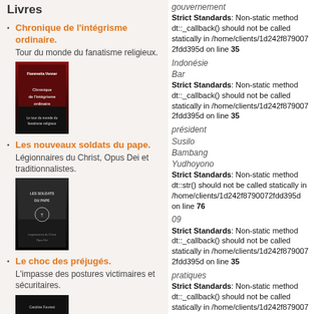Livres
Chronique de l'intégrisme ordinaire. Tour du monde du fanatisme religieux.
[Figure (photo): Book cover of Chronique de l'intégrisme ordinaire]
Les nouveaux soldats du pape. Légionnaires du Christ, Opus Dei et traditionnalistes.
[Figure (photo): Book cover of Les nouveaux soldats du pape]
Le choc des préjugés. L'impasse des postures victimaires et sécuritaires.
[Figure (photo): Book cover of Le choc des préjugés]
Strict Standards: Non-static method dt::_callback() should not be called statically in /home/clients/1d242f8790072fdd395d on line 35

Strict Standards: Non-static method dt::_callback() should not be called statically in /home/clients/1d242f8790072fdd395d on line 35

Strict Standards: Non-static method dt::str() should not be called statically in /home/clients/1d242f8790072fdd395d on line 76

Strict Standards: Non-static method dt::_callback() should not be called statically in /home/clients/1d242f8790072fdd395d on line 35

Strict Standards: Non-static method dt::_callback() should not be called statically in /home/clients/1d242f8790072fdd395d